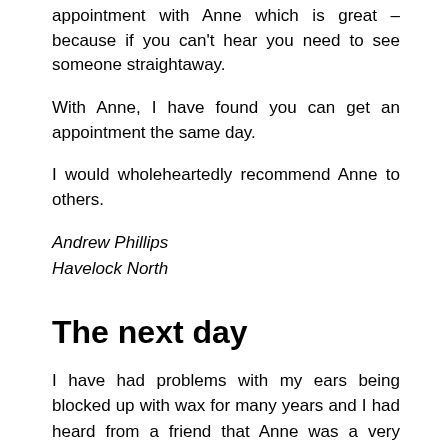appointment with Anne which is great – because if you can't hear you need to see someone straightaway.
With Anne, I have found you can get an appointment the same day.
I would wholeheartedly recommend Anne to others.
Andrew Phillips
Havelock North
The next day
I have had problems with my ears being blocked up with wax for many years and I had heard from a friend that Anne was a very good. I rang up for an appointment and was able to get in the next day, how good is that?